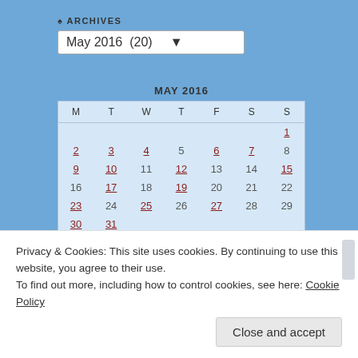ARCHIVES
May 2016  (20)
| M | T | W | T | F | S | S |
| --- | --- | --- | --- | --- | --- | --- |
|  |  |  |  |  |  | 1 |
| 2 | 3 | 4 | 5 | 6 | 7 | 8 |
| 9 | 10 | 11 | 12 | 13 | 14 | 15 |
| 16 | 17 | 18 | 19 | 20 | 21 | 22 |
| 23 | 24 | 25 | 26 | 27 | 28 | 29 |
| 30 | 31 |  |  |  |  |  |
« Apr   Jun »
BLOG STATS
337,239 hits
Privacy & Cookies: This site uses cookies. By continuing to use this website, you agree to their use.
To find out more, including how to control cookies, see here: Cookie Policy
Close and accept